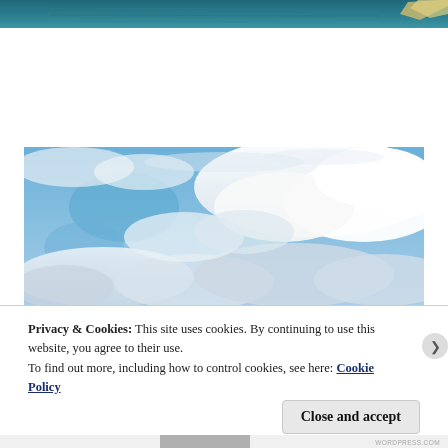[Figure (photo): Top cropped photo showing teal/blue water with a diagonal highlight element in the top-right corner]
[Figure (photo): Photograph of a blue sky with large white cumulus clouds]
Privacy & Cookies: This site uses cookies. By continuing to use this website, you agree to their use.
To find out more, including how to control cookies, see here: Cookie Policy
Close and accept